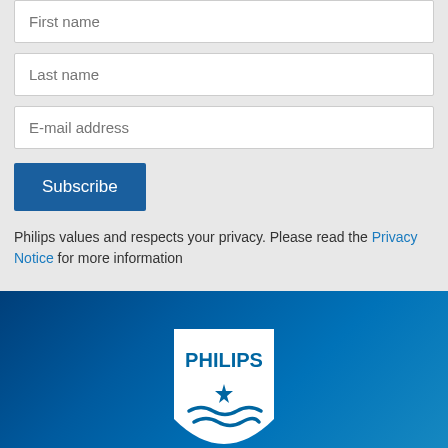[Figure (screenshot): Form input field with placeholder text 'First name']
[Figure (screenshot): Form input field with placeholder text 'Last name']
[Figure (screenshot): Form input field with placeholder text 'E-mail address']
[Figure (screenshot): Blue Subscribe button]
Philips values and respects your privacy. Please read the Privacy Notice for more information
[Figure (logo): Philips logo — white shield with PHILIPS text and star/wave emblem on dark blue gradient background]